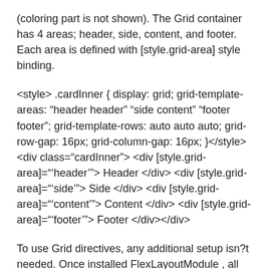(coloring part is not shown). The Grid container has 4 areas; header, side, content, and footer. Each area is defined with [style.grid-area] style binding.
<style> .cardInner { display: grid; grid-template-areas: "header header" "side content" "footer footer"; grid-template-rows: auto auto auto; grid-row-gap: 16px; grid-column-gap: 16px; }</style> <div class="cardInner"> <div [style.grid-area]="'header'"> Header </div> <div [style.grid-area]="'side'"> Side </div> <div [style.grid-area]="'content'"> Content </div> <div [style.grid-area]="'footer'"> Footer </div></div>
To use Grid directives, any additional setup isn?t needed. Once installed FlexLayoutModule , all